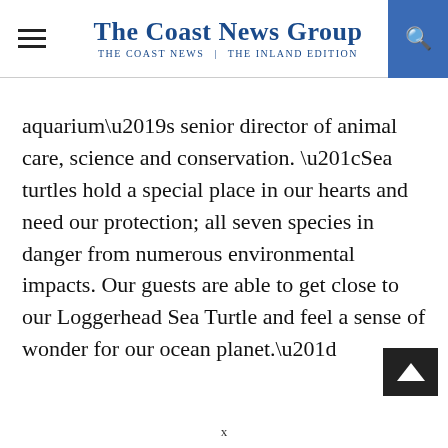The Coast News Group — The Coast News | The Inland Edition
aquarium’s senior director of animal care, science and conservation. “Sea turtles hold a special place in our hearts and need our protection; all seven species in danger from numerous environmental impacts. Our guests are able to get close to our Loggerhead Sea Turtle and feel a sense of wonder for our ocean planet.”
x